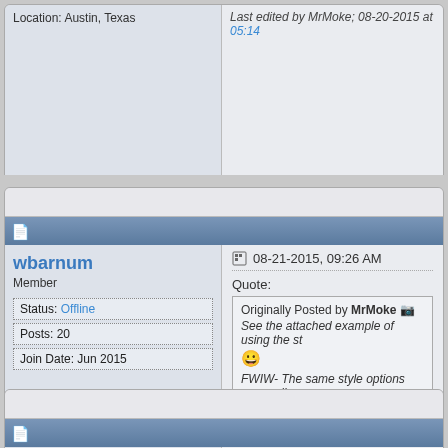Location: Austin, Texas
Last edited by MrMoke; 08-20-2015 at 05:14
wbarnum
Member
Status: Offline
Posts: 20
Join Date: Jun 2015
08-21-2015, 09:26 AM
Quote:
Originally Posted by MrMoke
See the attached example of using the st
FWIW- The same style options are availa
Thanks for the response. You wouldn't happen
MrMoke
08-21-2015, 11:13 AM